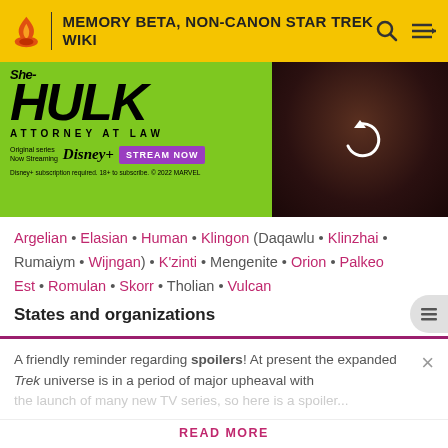MEMORY BETA, NON-CANON STAR TREK WIKI
[Figure (screenshot): She-Hulk Attorney at Law advertisement banner with green background, Disney+ streaming promotion with Stream Now button, and actress face on right side]
Argelian • Elasian • Human • Klingon (Daqawlu • Klinzhai • Rumaiym • Wijngan) • K'zinti • Mengenite • Orion • Palkeo Est • Romulan • Skorr • Tholian • Vulcan
States and organizations
First Federation • Judicial Committee • Klingon Empire • Lyr Zor • North American Maritime Registry • Planetary
A friendly reminder regarding spoilers! At present the expanded Trek universe is in a period of major upheaval with
READ MORE